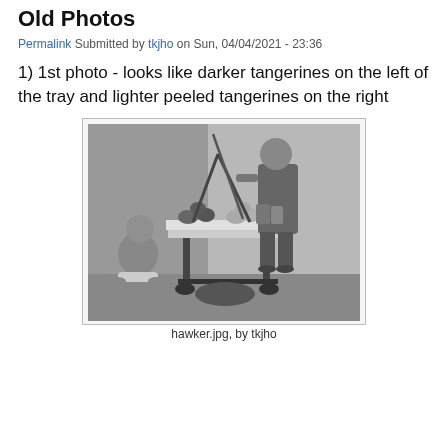Old Photos
Permalink Submitted by tkjho on Sun, 04/04/2021 - 23:36
1) 1st photo - looks like darker tangerines on the left of the tray and lighter peeled tangerines on the right
[Figure (photo): Black and white historical photograph showing a street hawker with a cart/tray of fruit (tangerines), a child sitting on the ground to the left, and the hawker standing behind the cart holding a pole. Items are displayed on a cloth-covered tray.]
hawker.jpg, by tkjho